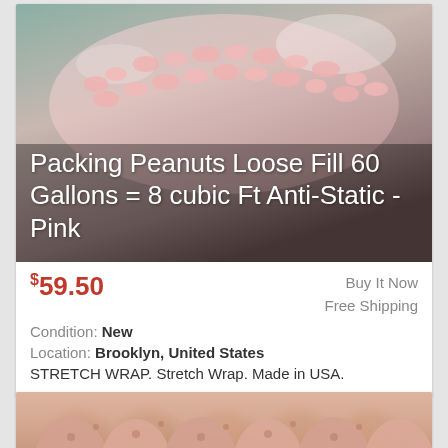[Figure (photo): Photo of pink packing peanuts in a clear plastic bag with product title text overlaid]
Packing Peanuts Loose Fill 60 Gallons = 8 cubic Ft Anti-Static - Pink
$59.50  Buy It Now  Free Shipping
Condition: New
Location: Brooklyn, United States
STRETCH WRAP. Stretch Wrap. Made in USA.
[Figure (photo): Photo of pink anti-static packing peanuts arranged in small bags or piles]